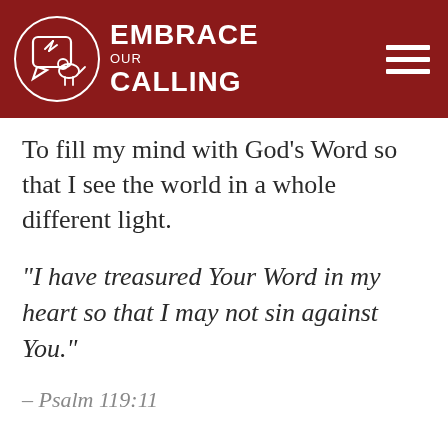EMBRACE OUR CALLING
To fill my mind with God's Word so that I see the world in a whole different light.
“I have treasured Your Word in my heart so that I may not sin against You.”
– Psalm 119:11